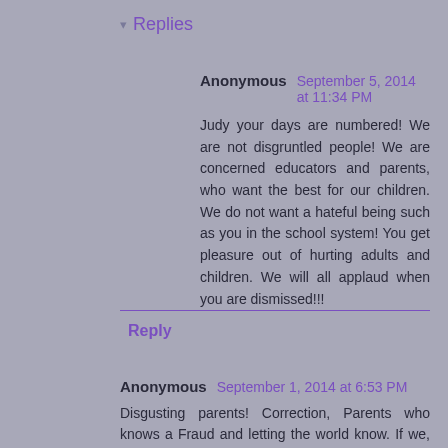▾ Replies
Anonymous September 5, 2014 at 11:34 PM
Judy your days are numbered! We are not disgruntled people! We are concerned educators and parents, who want the best for our children. We do not want a hateful being such as you in the school system! You get pleasure out of hurting adults and children. We will all applaud when you are dismissed!!!
Reply
Anonymous September 1, 2014 at 6:53 PM
Disgusting parents! Correction, Parents who knows a Fraud and letting the world know. If we, parents, are so wrong, why did your SPECIAL Adviser Madin and your friend who had little to offer to the students of Gateway, jumped Ship? Your other friend who you brought to Gateway as a Special